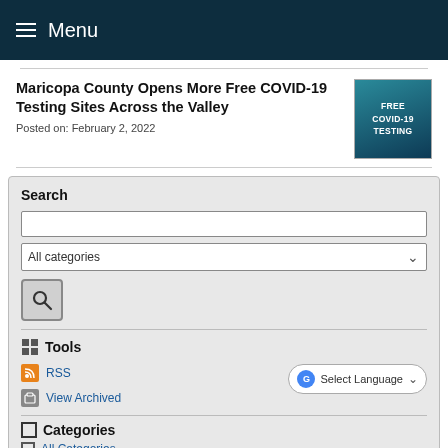Menu
Maricopa County Opens More Free COVID-19 Testing Sites Across the Valley
Posted on: February 2, 2022
[Figure (photo): Free COVID-19 Testing promotional image with teal/blue background]
Search
Tools
RSS
View Archived
Categories
All Categories